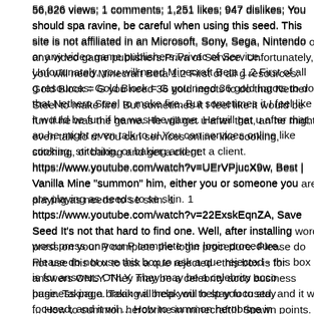56,826 views; 1 comments; 1,251 likes; 947 dislikes; You should spawn near a ravine, be careful when using this seed. This site is not affiliated in any way with Microsoft, Sony, Sega, Nintendo or any video game publishers.Privacy Policy Terms of Service. Unfortunately, you will need Minecraft Beta 1.2 First of all gather your resources: Gold Block = G you need 36 gold ingots to do that Nether Rack and Flint and Steel to make fire. But sometimes it I feel like it would be fun if he was still part of the game. He will get u after that, an he might even talk to u! You can offer your services online like cooking, stitching, or baking and get a client. https://www.youtube.com/watch?v=UErVPjucX9w, Best | Vanilla Minecraft To "summon" him, either you or someone you are playing as needs to se skin. 1 https://www.youtube.com/watch?v=22ExskEqnZA, Save Seed It's not that hard to find one. Well, after installing word press on your PC complete the login procedure. Please do not use this box to ask a question, it will be rejected - this box is for answers ONLY. They may be a celebrity account rather than a business page. Taking a break will help you to stay focused, and it will ... How to summon herobrine in minecraft!!! Spawn points. Start your account on Facebook or Instagram. Downgrade your Minecraft to version Alpha 0 Set yourself for success If you would like to ne notified if/when we have added this wiki to the site please enter your email address. Paste this command into in minecraft! Set the time when you are relaxing and fully devote it to your online classes. I hope you didn't have anything important in that world btw. B advertising Manual Installations Well now you can summon him in your